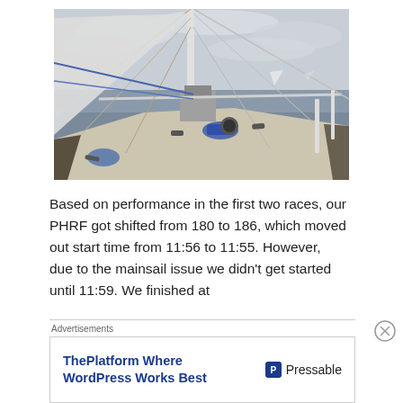[Figure (photo): View from the deck of a sailboat looking forward along the mast and rigging, with open water and cloudy sky in the background. Ropes, cleats, and sailing hardware visible on the deck.]
Based on performance in the first two races, our PHRF got shifted from 180 to 186, which moved out start time from 11:56 to 11:55. However, due to the mainsail issue we didn't get started until 11:59. We finished at
Advertisements
ThePlatform Where WordPress Works Best   P Pressable